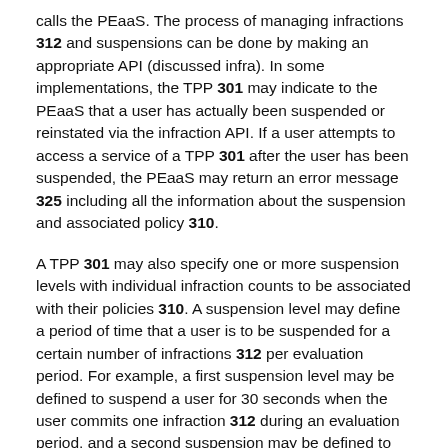calls the PEaaS. The process of managing infractions 312 and suspensions can be done by making an appropriate API (discussed infra). In some implementations, the TPP 301 may indicate to the PEaaS that a user has actually been suspended or reinstated via the infraction API. If a user attempts to access a service of a TPP 301 after the user has been suspended, the PEaaS may return an error message 325 including all the information about the suspension and associated policy 310.
A TPP 301 may also specify one or more suspension levels with individual infraction counts to be associated with their policies 310. A suspension level may define a period of time that a user is to be suspended for a certain number of infractions 312 per evaluation period. For example, a first suspension level may be defined to suspend a user for 30 seconds when the user commits one infraction 312 during an evaluation period, and a second suspension may be defined to suspend a user for 2 minutes when the user commits 10 infractions 312 during the evaluation period. A suspension level object may encapsulate information defined by the TPP 301 for an individual suspension level. The PEaaS may use the